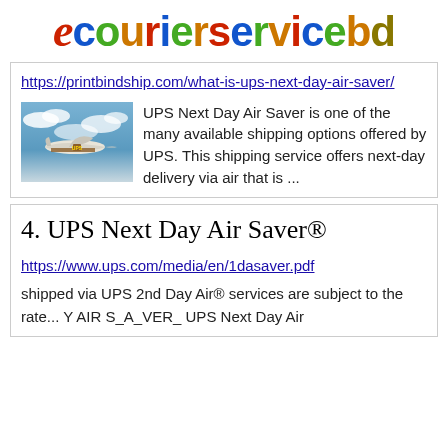[Figure (logo): ecourierservicebd logo with stylized red italic 'e' and multicolored text]
https://printbindship.com/what-is-ups-next-day-air-saver/
[Figure (photo): UPS cargo airplane flying above clouds]
UPS Next Day Air Saver is one of the many available shipping options offered by UPS. This shipping service offers next-day delivery via air that is ...
4. UPS Next Day Air Saver®
https://www.ups.com/media/en/1dasaver.pdf
shipped via UPS 2nd Day Air® services are subject to the rate... Y AIR S_A_VER_ UPS Next Day Air